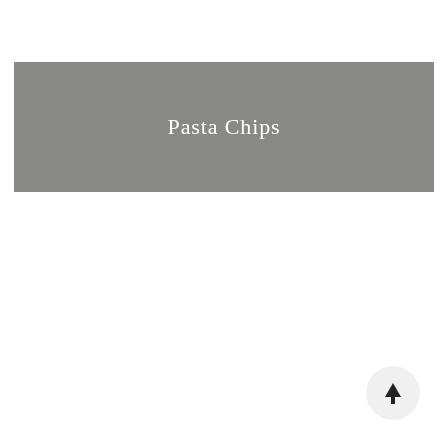Pasta Chips
[Figure (other): Scroll-to-top button: circular light gray button with an upward-pointing arrow icon]